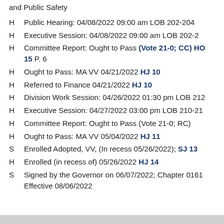and Public Safety
H  Public Hearing: 04/08/2022 09:00 am LOB 202-204
H  Executive Session: 04/08/2022 09:00 am LOB 202-2
H  Committee Report: Ought to Pass (Vote 21-0; CC) HO 15 P. 6
H  Ought to Pass: MA VV 04/21/2022 HJ 10
H  Referred to Finance 04/21/2022 HJ 10
H  Division Work Session: 04/26/2022 01:30 pm LOB 212
H  Executive Session: 04/27/2022 03:00 pm LOB 210-21
H  Committee Report: Ought to Pass (Vote 21-0; RC)
H  Ought to Pass: MA VV 05/04/2022 HJ 11
S  Enrolled Adopted, VV, (In recess 05/26/2022); SJ 13
H  Enrolled (in recess of) 05/26/2022 HJ 14
S  Signed by the Governor on 06/07/2022; Chapter 0161 Effective 08/06/2022